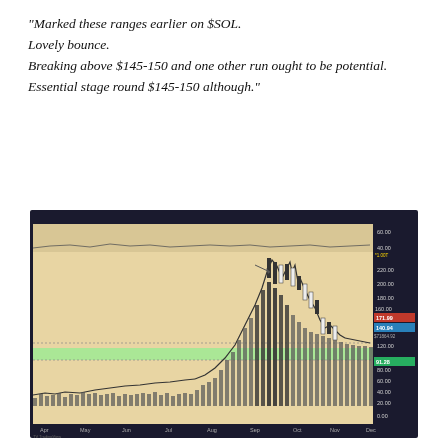“Marked these ranges earlier on $SOL.

Lovely bounce.

Breaking above $145-150 and one other run ought to be potential.

Essential stage round $145-150 although.”
[Figure (continuous-plot): Candlestick price chart for $SOL (Solana) from approximately April to December, showing a large price rally peaking near $260 in September, then declining. Price axis on right shows values from 0 to about 260. Green highlighted zone around 120-130 level. Red label showing ~$171.99, blue label showing ~$140.94, green label showing ~$91.28. Volume bars shown at the bottom. Time axis shows Apr, May, Jun, Jul, Aug, Sep, Oct, Nov, Dec.]